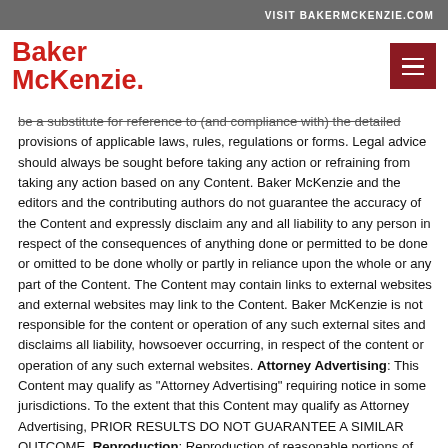VISIT BAKERMCKENZIE.COM
[Figure (logo): Baker McKenzie logo in red with hamburger menu button]
be a substitute for reference to (and compliance with) the detailed provisions of applicable laws, rules, regulations or forms. Legal advice should always be sought before taking any action or refraining from taking any action based on any Content. Baker McKenzie and the editors and the contributing authors do not guarantee the accuracy of the Content and expressly disclaim any and all liability to any person in respect of the consequences of anything done or permitted to be done or omitted to be done wholly or partly in reliance upon the whole or any part of the Content. The Content may contain links to external websites and external websites may link to the Content. Baker McKenzie is not responsible for the content or operation of any such external sites and disclaims all liability, howsoever occurring, in respect of the content or operation of any such external websites. Attorney Advertising: This Content may qualify as "Attorney Advertising" requiring notice in some jurisdictions. To the extent that this Content may qualify as Attorney Advertising, PRIOR RESULTS DO NOT GUARANTEE A SIMILAR OUTCOME. Reproduction: Reproduction of reasonable portions of the Content is